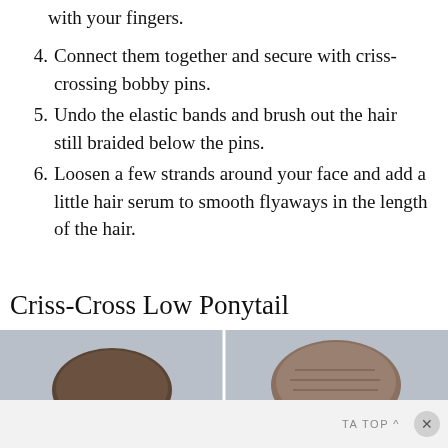with your fingers.
4. Connect them together and secure with criss-crossing bobby pins.
5. Undo the elastic bands and brush out the hair still braided below the pins.
6. Loosen a few strands around your face and add a little hair serum to smooth flyaways in the length of the hair.
Criss-Cross Low Ponytail
[Figure (photo): Two side-by-side photos showing the back of a woman's head with a criss-cross low ponytail hairstyle.]